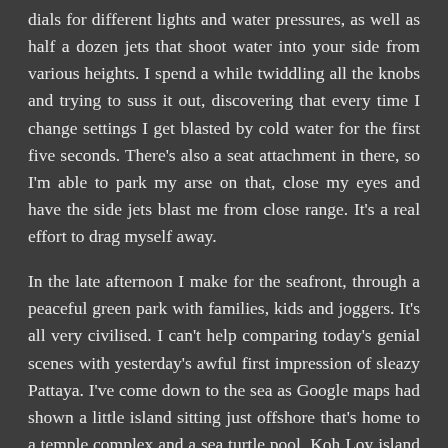dials for different lights and water pressures, as well as half a dozen jets that shoot water into your side from various heights. I spend a while twiddling all the knobs and trying to suss it out, discovering that every time I change settings I get blasted by cold water for the first five seconds. There's also a seat attachment in there, so I'm able to park my arse on that, close my eyes and have the side jets blast me from close range. It's a real effort to drag myself away.
In the late afternoon I make for the seafront, through a peaceful green park with families, kids and joggers. It's all very civilised. I can't help comparing today's genial scenes with yesterday's awful first impression of sleazy Pattaya. I've come down to the sea as Google maps had shown a little island sitting just offshore that's home to a temple complex and a sea turtle pool. Koh Loy island is connected to the mainland by a five